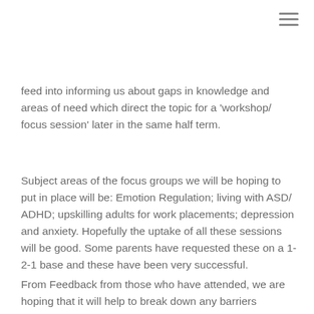feed into informing us about gaps in knowledge and areas of need which direct the topic for a 'workshop/ focus session' later in the same half term.
Subject areas of the focus groups we will be hoping to put in place will be: Emotion Regulation; living with ASD/ ADHD; upskilling adults for work placements; depression and anxiety. Hopefully the uptake of all these sessions will be good. Some parents have requested these on a 1-2-1 base and these have been very successful.
From Feedback from those who have attended, we are hoping that it will help to break down any barriers between home and school and parents will leave with a more positive view of their child's education. We are sure that parents who attend will be more supportive of us and our